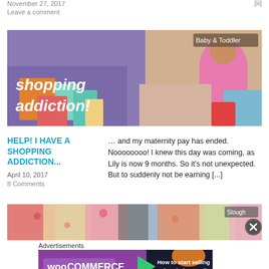November 27, 2017
Leave a comment
[Figure (photo): Shopping addiction blog post image: child in pink shirt surrounded by clothes, text 'shopping addiction!' with 'Baby & Toddler' badge]
HELP! I HAVE A SHOPPING ADDICTION...
April 10, 2017
8 Comments
… and my maternity pay has ended. Noooooooo! I knew this day was coming, as Lily is now 9 months. So it's not unexpected. But to suddenly not be earning [...]
[Figure (photo): Slough clothing market banner image with colorful floral garments, 'Slough' badge visible]
Advertisements
[Figure (screenshot): WooCommerce advertisement: 'How to start selling subscriptions online']